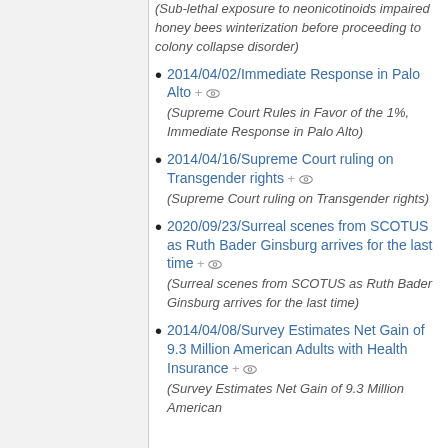(Sub-lethal exposure to neonicotinoids impaired honey bees winterization before proceeding to colony collapse disorder)
2014/04/02/Immediate Response in Palo Alto (Supreme Court Rules in Favor of the 1%, Immediate Response in Palo Alto)
2014/04/16/Supreme Court ruling on Transgender rights (Supreme Court ruling on Transgender rights)
2020/09/23/Surreal scenes from SCOTUS as Ruth Bader Ginsburg arrives for the last time (Surreal scenes from SCOTUS as Ruth Bader Ginsburg arrives for the last time)
2014/04/08/Survey Estimates Net Gain of 9.3 Million American Adults with Health Insurance (Survey Estimates Net Gain of 9.3 Million American Adults with Health Insurance)